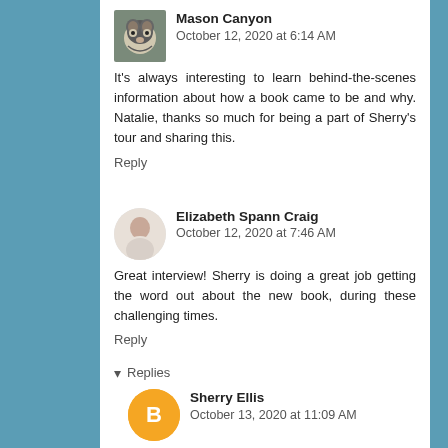Mason Canyon October 12, 2020 at 6:14 AM
It's always interesting to learn behind-the-scenes information about how a book came to be and why. Natalie, thanks so much for being a part of Sherry's tour and sharing this.
Reply
Elizabeth Spann Craig October 12, 2020 at 7:46 AM
Great interview! Sherry is doing a great job getting the word out about the new book, during these challenging times.
Reply
Replies
Sherry Ellis October 13, 2020 at 11:09 AM
Thanks, Elizabeth! I'm very grateful